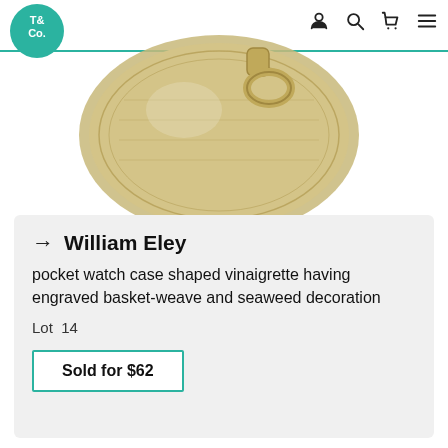[Figure (logo): T&Co. logo — teal circle with white T& Co/ text]
[Figure (photo): Close-up photograph of an antique silver pocket watch case shaped vinaigrette with engraved basket-weave and seaweed decoration, showing the crown and ring bail.]
→  William Eley
pocket watch case shaped vinaigrette having engraved basket-weave and seaweed decoration
Lot  14
Sold for $62